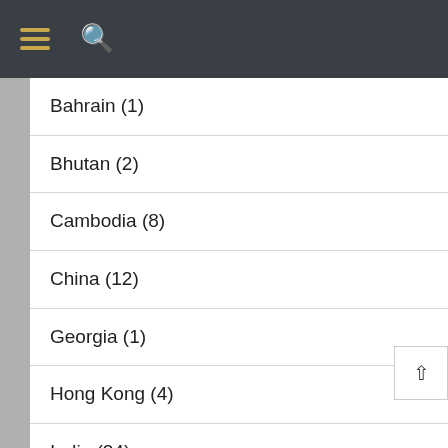Navigation header with hamburger menu and search icons
Bahrain (1)
Bhutan (2)
Cambodia (8)
China (12)
Georgia (1)
Hong Kong (4)
India (24)
Indonesia (33)
Israel (9)
Japan (73)
Jordan (2)